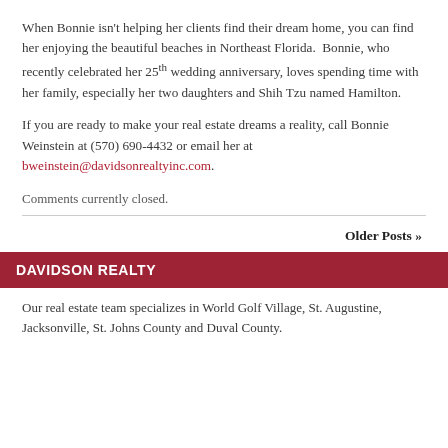When Bonnie isn't helping her clients find their dream home, you can find her enjoying the beautiful beaches in Northeast Florida.  Bonnie, who recently celebrated her 25th wedding anniversary, loves spending time with her family, especially her two daughters and Shih Tzu named Hamilton.
If you are ready to make your real estate dreams a reality, call Bonnie Weinstein at (570) 690-4432 or email her at bweinstein@davidsonrealtyinc.com.
Comments currently closed.
Older Posts »
DAVIDSON REALTY
Our real estate team specializes in World Golf Village, St. Augustine, Jacksonville, St. Johns County and Duval County.